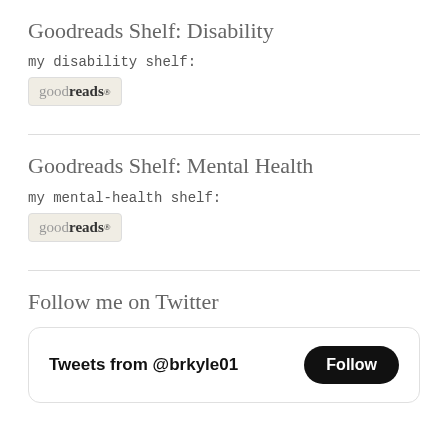Goodreads Shelf: Disability
my disability shelf:
[Figure (logo): Goodreads logo badge with rounded rectangle background]
Goodreads Shelf: Mental Health
my mental-health shelf:
[Figure (logo): Goodreads logo badge with rounded rectangle background]
Follow me on Twitter
[Figure (screenshot): Twitter widget showing Tweets from @brkyle01 with a Follow button]